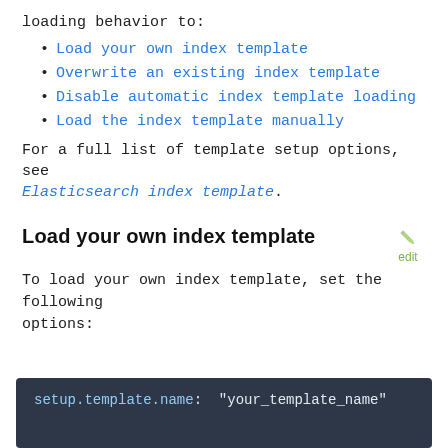loading behavior to:
Load your own index template
Overwrite an existing index template
Disable automatic index template loading
Load the index template manually
For a full list of template setup options, see Elasticsearch index template.
Load your own index template
To load your own index template, set the following options:
[Figure (screenshot): Code block showing: setup.template.name: "your_template_name"]